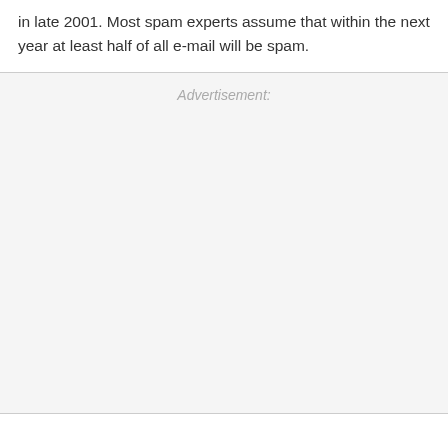in late 2001. Most spam experts assume that within the next year at least half of all e-mail will be spam.
Advertisement: